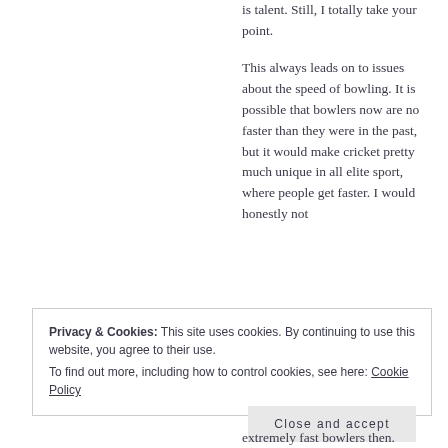is talent. Still, I totally take your point.

This always leads on to issues about the speed of bowling. It is possible that bowlers now are no faster than they were in the past, but it would make cricket pretty much unique in all elite sport, where people get faster. I would honestly not
Privacy & Cookies: This site uses cookies. By continuing to use this website, you agree to their use.
To find out more, including how to control cookies, see here: Cookie Policy
Close and accept
extremely fast bowlers then.